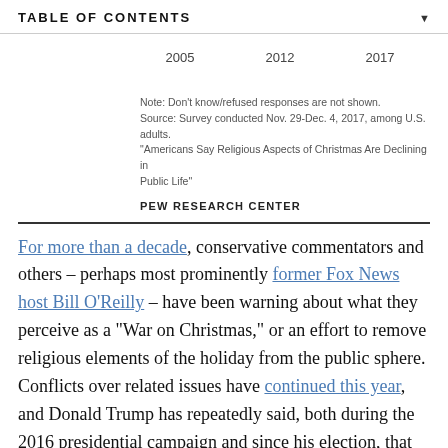TABLE OF CONTENTS
[Figure (other): Partial chart showing years 2005, 2012, 2017 on x-axis]
Note: Don't know/refused responses are not shown.
Source: Survey conducted Nov. 29-Dec. 4, 2017, among U.S. adults. "Americans Say Religious Aspects of Christmas Are Declining in Public Life"
PEW RESEARCH CENTER
For more than a decade, conservative commentators and others – perhaps most prominently former Fox News host Bill O'Reilly – have been warning about what they perceive as a "War on Christmas," or an effort to remove religious elements of the holiday from the public sphere. Conflicts over related issues have continued this year, and Donald Trump has repeatedly said, both during the 2016 presidential campaign and since his election, that Americans will be "saying 'merry Christmas' again" during his presidency.
A majority of Americans say they observe or...